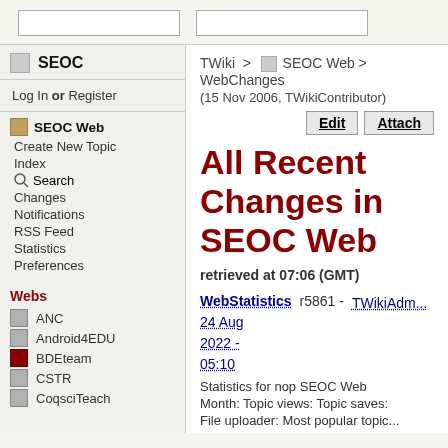[search box 1] [search box 2]
SEOC
Log In or Register
SEOC Web
Create New Topic
Index
Search
Changes
Notifications
RSS Feed
Statistics
Preferences
Webs
ANC
Android4EDU
BDEteam
CSTR
CoqsciTeach
TWiki > SEOC Web > WebChanges
(15 Nov 2006, TWikiContributor)
All Recent Changes in SEOC Web
retrieved at 07:06 (GMT)
WebStatistics r5861 - TWikiAdm... 24 Aug 2022 - 05:10
Statistics for nop SEOC Web
Month: Topic views: Topic saves:
File uploader: Most popular topic...